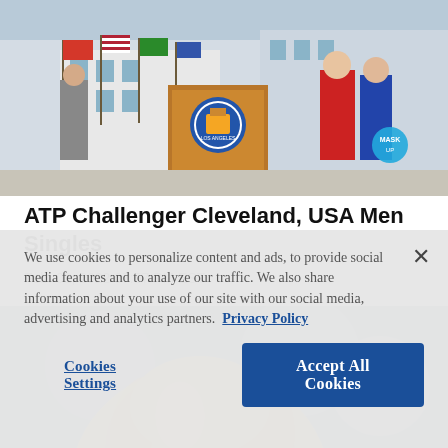[Figure (photo): Press conference scene with podium bearing a city seal, flags in background, people standing around]
ATP Challenger Cleveland, USA Men Singles
Feb. 02, 2022 07:57 PM EST
[Figure (photo): Close-up of a person with blond hair, blurred background]
We use cookies to personalize content and ads, to provide social media features and to analyze our traffic. We also share information about your use of our site with our social media, advertising and analytics partners.  Privacy Policy
Cookies Settings   Accept All Cookies